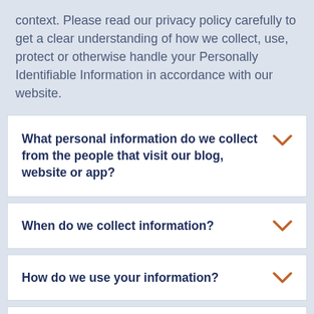context. Please read our privacy policy carefully to get a clear understanding of how we collect, use, protect or otherwise handle your Personally Identifiable Information in accordance with our website.
What personal information do we collect from the people that visit our blog, website or app?
When do we collect information?
How do we use your information?
How do we protect your information?